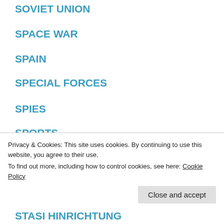SOVIET UNION
SPACE WAR
SPAIN
SPECIAL FORCES
SPIES
SPORTS
SPY
SRI LANKA
STAATSANWAELTIN BEATE PORTEN
STAATSANWAELTIN PORTEN
Privacy & Cookies: This site uses cookies. By continuing to use this website, you agree to their use.
To find out more, including how to control cookies, see here: Cookie Policy
STASI HINRICHTUNG